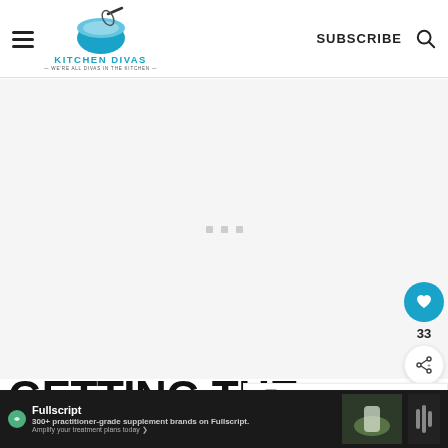[Figure (logo): Kitchen Divas logo with blue mixing bowl and whisk, text KITCHEN DIVAS and tagline WE'RE ALL DIVAS IN THE KITCHEN]
SUBSCRIBE
[Figure (other): Advertisement placeholder area with gray loading dots]
[Figure (other): Heart/like button (teal circle with heart icon), count 33, and share button]
33
[Figure (other): WHAT'S NEXT arrow label with thumbnail image of Leftover Turkey Dinner]
WHAT'S NEXT → Leftover Turkey Dinn...
GETTING THE TUR READY
[Figure (other): Fullscript advertisement bar: 300+ practitioner-grade supplement brands on Fullscript. Amplify your treatment plans today.]